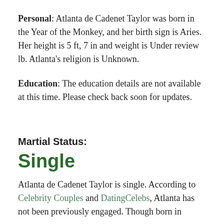Personal: Atlanta de Cadenet Taylor was born in the Year of the Monkey, and her birth sign is Aries. Her height is 5 ft, 7 in and weight is Under review lb. Atlanta's religion is Unknown.
Education: The education details are not available at this time. Please check back soon for updates.
Martial Status:
Single
Atlanta de Cadenet Taylor is single. According to Celebrity Couples and DatingCelebs, Atlanta has not been previously engaged. Though born in